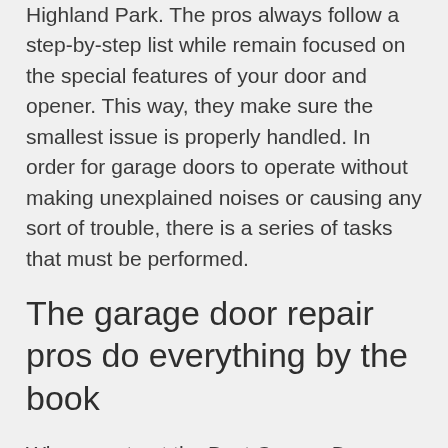Highland Park. The pros always follow a step-by-step list while remain focused on the special features of your door and opener. This way, they make sure the smallest issue is properly handled. In order for garage doors to operate without making unexplained noises or causing any sort of trouble, there is a series of tasks that must be performed.
The garage door repair pros do everything by the book
When you trust the Best Garage Door Repair Highland Park service provider, the job is completed by the book. The pros check all parts and pay special attention to the safety features. They test the garage door balance, force...